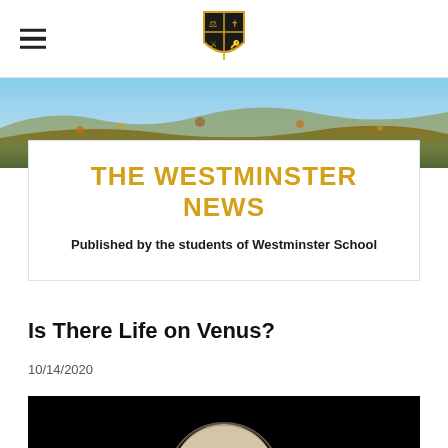[Figure (logo): Westminster School shield/crest logo centered in navigation bar]
[Figure (photo): Landscape panoramic photo showing rolling hills with autumn foliage under a blue sky]
THE WESTMINSTER NEWS
Published by the students of Westminster School
Is There Life on Venus?
10/14/2020
[Figure (photo): Photo of Venus planet against black background, partially visible at bottom of page]